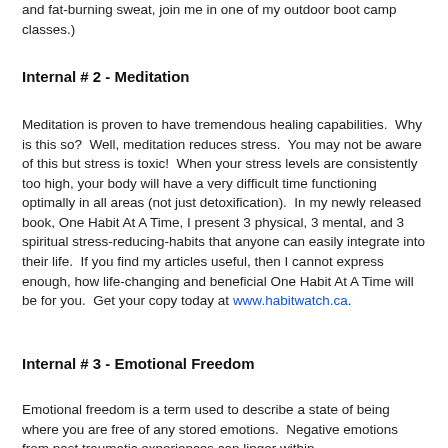and fat-burning sweat, join me in one of my outdoor boot camp classes.)
Internal # 2 - Meditation
Meditation is proven to have tremendous healing capabilities.  Why is this so?  Well, meditation reduces stress.  You may not be aware of this but stress is toxic!  When your stress levels are consistently too high, your body will have a very difficult time functioning optimally in all areas (not just detoxification).  In my newly released book, One Habit At A Time, I present 3 physical, 3 mental, and 3 spiritual stress-reducing-habits that anyone can easily integrate into their life.  If you find my articles useful, then I cannot express enough, how life-changing and beneficial One Habit At A Time will be for you.  Get your copy today at www.habitwatch.ca.
Internal # 3 - Emotional Freedom
Emotional freedom is a term used to describe a state of being where you are free of any stored emotions.  Negative emotions from past traumatic experiences can linger within